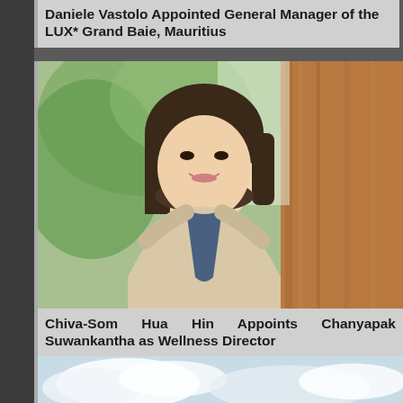Daniele Vastolo Appointed General Manager of the LUX* Grand Baie, Mauritius
[Figure (photo): Portrait photo of Chanyapak Suwankantha, a woman with a bob haircut wearing a beige/cream blazer and a necklace, smiling, with green foliage and wooden interior in background]
Chiva-Som Hua Hin Appoints Chanyapak Suwankantha as Wellness Director
[Figure (photo): Partially visible photo showing a sky with clouds, likely a landscape or hotel exterior shot]